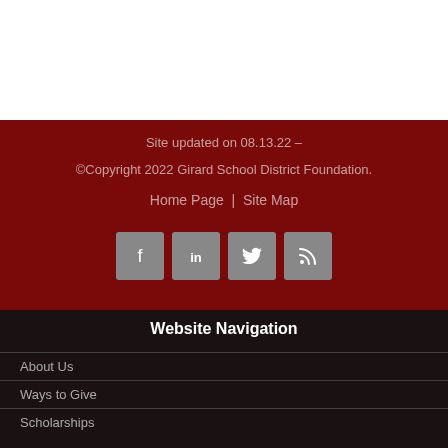Site updated on 08.13.22 –
©Copyright 2022 Girard School District Foundation.
Home Page | Site Map
[Figure (infographic): Four social media icon buttons: Facebook, LinkedIn, Twitter, RSS feed — grey square buttons with white icons on dark red background]
Website Navigation
About Us
Ways to Give
Scholarships